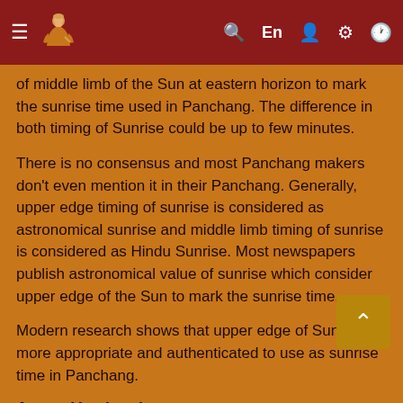Navigation bar with hamburger menu, logo, search, En, user, settings, clock icons
of middle limb of the Sun at eastern horizon to mark the sunrise time used in Panchang. The difference in both timing of Sunrise could be up to few minutes.
There is no consensus and most Panchang makers don't even mention it in their Panchang. Generally, upper edge timing of sunrise is considered as astronomical sunrise and middle limb timing of sunrise is considered as Hindu Sunrise. Most newspapers publish astronomical value of sunrise which consider upper edge of the Sun to mark the sunrise time.
Modern research shows that upper edge of Sunrise is more appropriate and authenticated to use as sunrise time in Panchang.
As per Varahamira -
ततस्तेषां नवमांशाः प्राग्वद्योज्यास्ते भवन्ति